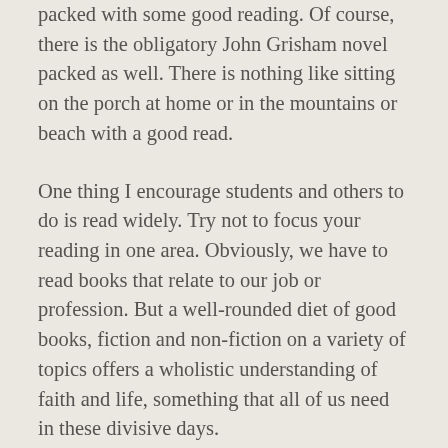packed with some good reading. Of course, there is the obligatory John Grisham novel packed as well. There is nothing like sitting on the porch at home or in the mountains or beach with a good read.
One thing I encourage students and others to do is read widely. Try not to focus your reading in one area. Obviously, we have to read books that relate to our job or profession. But a well-rounded diet of good books, fiction and non-fiction on a variety of topics offers a wholistic understanding of faith and life, something that all of us need in these divisive days.
Leave a comment and tell me what you have read that...